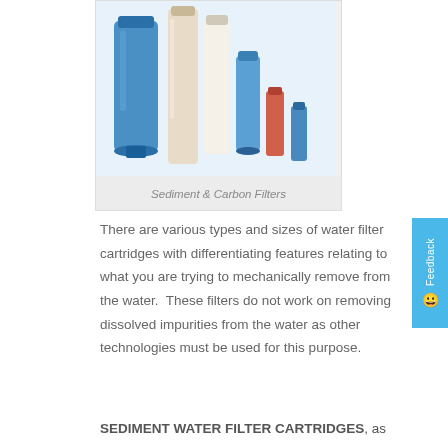[Figure (photo): Photo of various sediment and carbon water filter cartridges and housings, including blue filter housings and cylindrical filter cartridges of various sizes]
Sediment & Carbon Filters
There are various types and sizes of water filter cartridges with differentiating features relating to what you are trying to mechanically remove from the water. These filters do not work on removing dissolved impurities from the water as other technologies must be used for this purpose.
SEDIMENT WATER FILTER CARTRIDGES, as